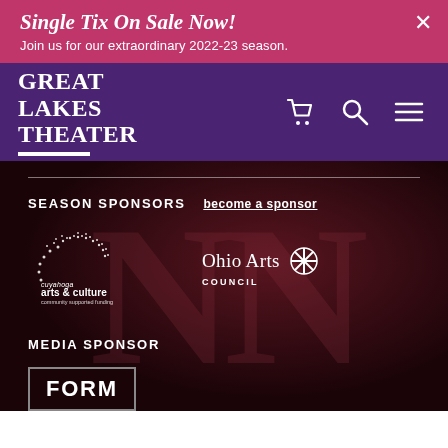Single Tix On Sale Now! Join us for our extraordinary 2022-23 season.
[Figure (logo): Great Lakes Theater logo in white text on purple background with white underline bar]
SEASON SPONSORS  become a sponsor
[Figure (logo): Cuyahoga arts & culture community supported funding logo in white dots and text]
[Figure (logo): Ohio Arts Council logo in white with snowflake/asterisk emblem]
MEDIA SPONSOR
[Figure (logo): FORM logo — white letters in a grey-bordered rectangle]